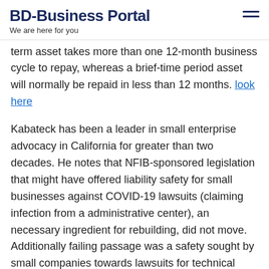BD-Business Portal
We are here for you
term asset takes more than one 12-month business cycle to repay, whereas a brief-time period asset will normally be repaid in less than 12 months. look here
Kabateck has been a leader in small enterprise advocacy in California for greater than two decades. He notes that NFIB-sponsored legislation that might have offered liability safety for small businesses against COVID-19 lawsuits (claiming infection from a administrative center), an necessary ingredient for rebuilding, did not move. Additionally failing passage was a safety sought by small companies towards lawsuits for technical meal and rest break points linked to staff working at house. At the same time